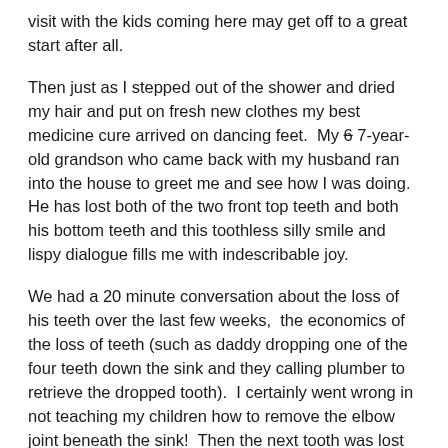visit with the kids coming here may get off to a great start after all.
Then just as I stepped out of the shower and dried my hair and put on fresh new clothes my best medicine cure arrived on dancing feet.  My 6 7-year-old grandson who came back with my husband ran into the house to greet me and see how I was doing.  He has lost both of the two front top teeth and both his bottom teeth and this toothless silly smile and lispy dialogue fills me with indescribable joy.
We had a 20 minute conversation about the loss of his teeth over the last few weeks,  the economics of the loss of teeth (such as daddy dropping one of the four teeth down the sink and they calling plumber to retrieve the dropped tooth).  I certainly went wrong in not teaching my children how to remove the elbow joint beneath the sink!  Then the next tooth was lost on the playground at school.  Several green bills later the fourth tooth is left with the tooth fairy and grandson has 12 dollars in his bank!!  Then our happy conversation drifts on to Harry Potter and how at 6 he has already read a shortened version of the first book and has